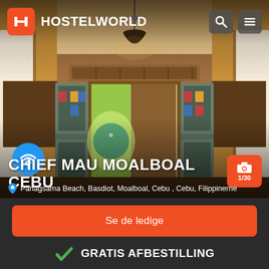[Figure (photo): Interior of hostel dormitory room showing bunk beds with white curtains on either side, storage lockers in the center background, a teardrop pendant lamp hanging from ceiling, and an open door letting in natural light with tropical greenery visible outside. Warm amber tones throughout.]
HOSTELWORLD
CHIEF MAU MOALBOAL CEBU
Panagsama Beach, Basdiot, Moalboal, Cebu , Cebu, Filippinerne
1/30
Se de ledige
GRATIS AFBESTILLING